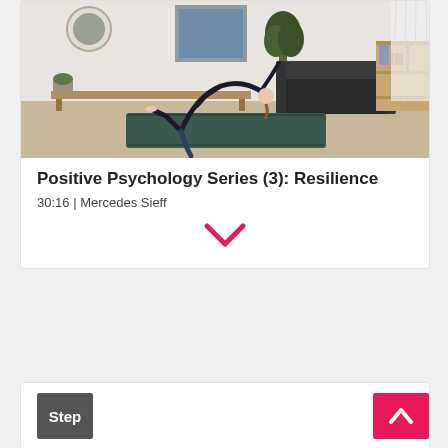[Figure (photo): Woman performing a yoga backbend pose on a dark green mat in a modern living room with white walls, plants, a black sofa, and wooden shelving unit]
Positive Psychology Series (3): Resilience
30:16 | Mercedes Sieff
[Figure (other): Red downward chevron/arrow icon]
Step